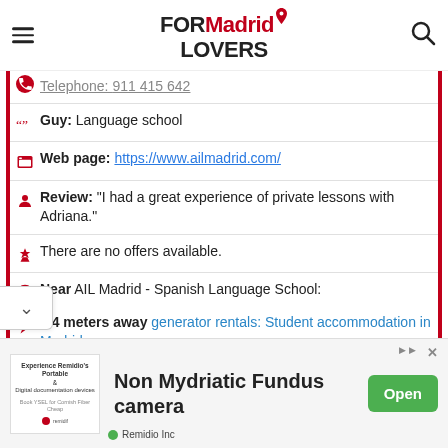FOR Madrid LOVERS
Telephone: [redacted]
Guy: Language school
Web page: https://www.ailmadrid.com/
Review: "I had a great experience of private lessons with Adriana."
There are no offers available.
Near AIL Madrid - Spanish Language School:
a 4 meters away generator rentals: Student accommodation in Madrid
[Figure (screenshot): Advertisement banner for Non Mydriatic Fundus camera by Remidio Inc with Open button]